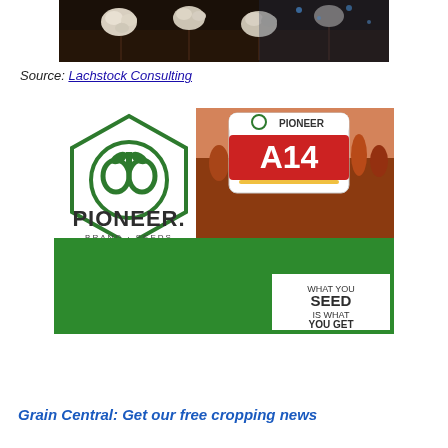[Figure (photo): Dark close-up photograph of cotton bolls on plants]
Source: Lachstock Consulting
[Figure (photo): Pioneer Brand Seeds advertisement showing A14 sorghum variety with red/brown grain field background and green lower section with 'WHAT YOU SEED IS WHAT YOU GET' slogan]
Grain Central: Get our free cropping news